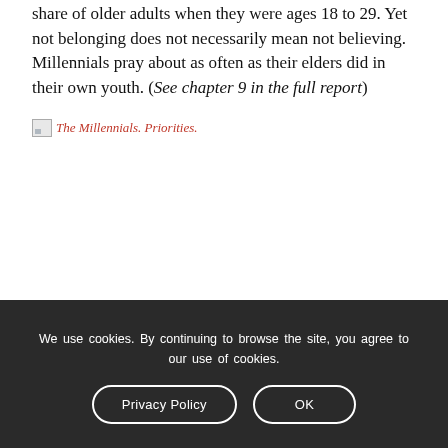share of older adults when they were ages 18 to 29. Yet not belonging does not necessarily mean not believing. Millennials pray about as often as their elders did in their own youth. (See chapter 9 in the full report)
[Figure (illustration): Broken image placeholder with italic red caption text: The Millennials. Priorities.]
We use cookies. By continuing to browse the site, you agree to our use of cookies.
Privacy Policy
OK